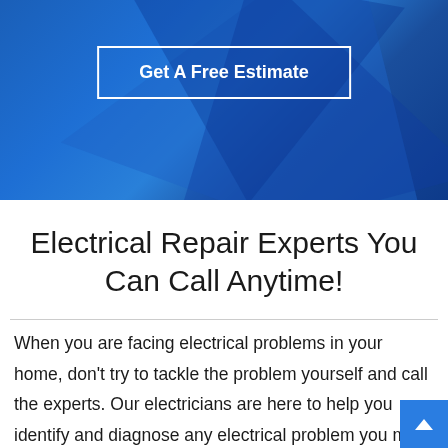[Figure (illustration): Blue geometric polygon hero banner background with faceted triangular shapes in various shades of blue]
Get A Free Estimate
Electrical Repair Experts You Can Call Anytime!
When you are facing electrical problems in your home, don't try to tackle the problem yourself and call the experts. Our electricians are here to help you identify and diagnose any electrical problem you may be facing. It is essential that you never attempt electrical repairs yourself because it can